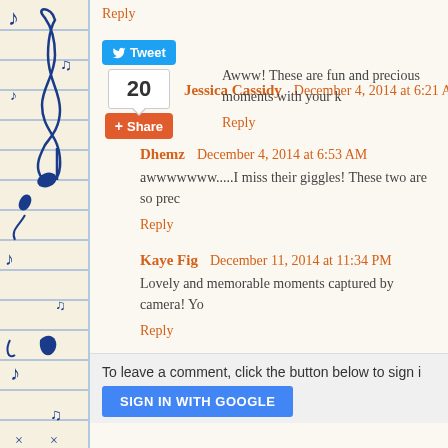[Figure (screenshot): Left sidebar with music note decorations and blue horizontal lines on cream background]
Reply
Jessica Cassidy  December 4, 2014 at 6:21 AM
[Figure (other): Tweet button and share count widget showing 20 shares, with Share button below]
Awww! These are fun and precious moments with your k
Reply
Dhemz  December 4, 2014 at 6:53 AM
awwwwwww.....I miss their giggles! These two are so prec
Reply
Kaye Fig  December 11, 2014 at 11:34 PM
Lovely and memorable moments captured by camera! Yo
Reply
To leave a comment, click the button below to sign i
[Figure (other): SIGN IN WITH GOOGLE button in blue]